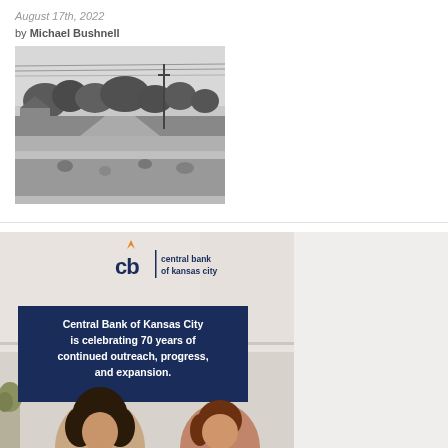August 17th, 2022
by Michael Bushnell
[Figure (photo): Black and white historic aerial photograph of a neighborhood street with houses, trees, and a grassy area]
[Figure (illustration): Central Bank of Kansas City advertisement featuring their logo with 'cb central bank of kansas city' and text reading 'Central Bank of Kansas City is celebrating 70 years of continued outreach, progress, and expansion.' with two people visible at the bottom]